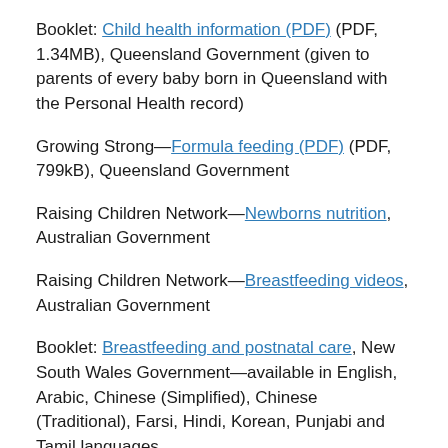Booklet: Child health information (PDF) (PDF, 1.34MB), Queensland Government (given to parents of every baby born in Queensland with the Personal Health record)
Growing Strong—Formula feeding (PDF) (PDF, 799kB), Queensland Government
Raising Children Network—Newborns nutrition, Australian Government
Raising Children Network—Breastfeeding videos, Australian Government
Booklet: Breastfeeding and postnatal care, New South Wales Government—available in English, Arabic, Chinese (Simplified), Chinese (Traditional), Farsi, Hindi, Korean, Punjabi and Tamil languages
Related content
The importance of breastfeeding